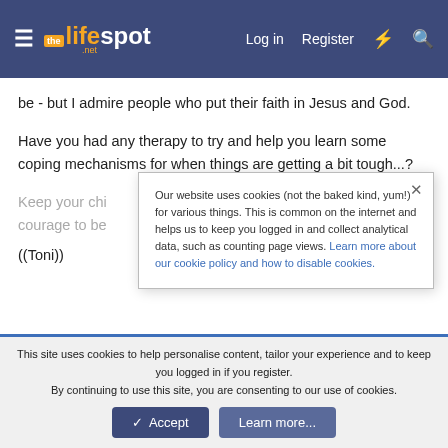lifespot.net — Log in  Register
be - but I admire people who put their faith in Jesus and God.
Have you had any therapy to try and help you learn some coping mechanisms for when things are getting a bit tough...?
Keep your chi[n up. I admire your strength and] courage to be[ar through your troubles.]
((Toni))
Our website uses cookies (not the baked kind, yum!) for various things. This is common on the internet and helps us to keep you logged in and collect analytical data, such as counting page views. Learn more about our cookie policy and how to disable cookies.
Toni
This site uses cookies to help personalise content, tailor your experience and to keep you logged in if you register.
By continuing to use this site, you are consenting to our use of cookies.
✓ Accept   Learn more...